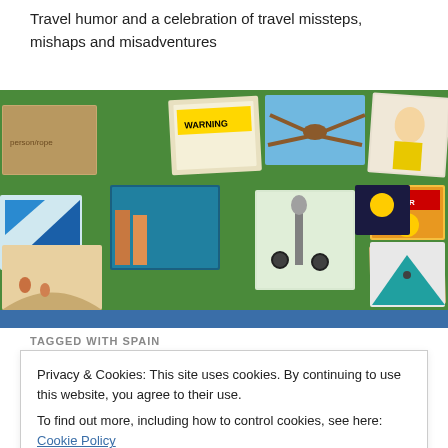Travel humor and a celebration of travel missteps, mishaps and misadventures
[Figure (photo): Collage of travel photos showing warning signs, tourists, landscapes, animals, tents, sunsets, and outdoor activities arranged over a green background]
TAGGED WITH SPAIN
Privacy & Cookies: This site uses cookies. By continuing to use this website, you agree to their use.
To find out more, including how to control cookies, see here: Cookie Policy
Close and accept